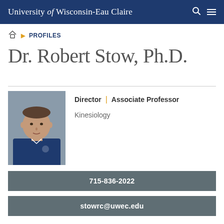University of Wisconsin-Eau Claire
PROFILES
Dr. Robert Stow, Ph.D.
[Figure (photo): Professional headshot of Dr. Robert Stow wearing a navy blue polo shirt with a university logo, photographed against a stone/brick background]
Director | Associate Professor
Kinesiology
715-836-2022
stowrc@uwec.edu